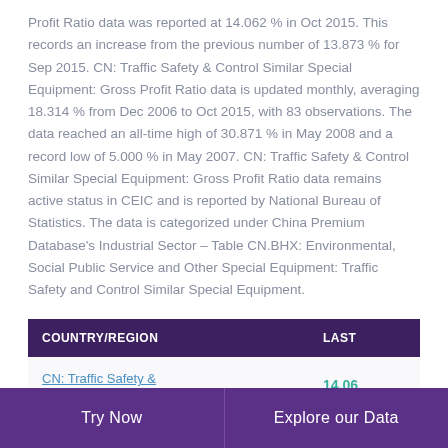Profit Ratio data was reported at 14.062 % in Oct 2015. This records an increase from the previous number of 13.873 % for Sep 2015. CN: Traffic Safety & Control Similar Special Equipment: Gross Profit Ratio data is updated monthly, averaging 18.314 % from Dec 2006 to Oct 2015, with 83 observations. The data reached an all-time high of 30.871 % in May 2008 and a record low of 5.000 % in May 2007. CN: Traffic Safety & Control Similar Special Equipment: Gross Profit Ratio data remains active status in CEIC and is reported by National Bureau of Statistics. The data is categorized under China Premium Database's Industrial Sector – Table CN.BHX: Environmental, Social Public Service and Other Special Equipment: Traffic Safety and Control Similar Special Equipment.
| COUNTRY/REGION | LAST |
| --- | --- |
| CN: Traffic Safety & Control Similar Special Equipment | 14.06 |